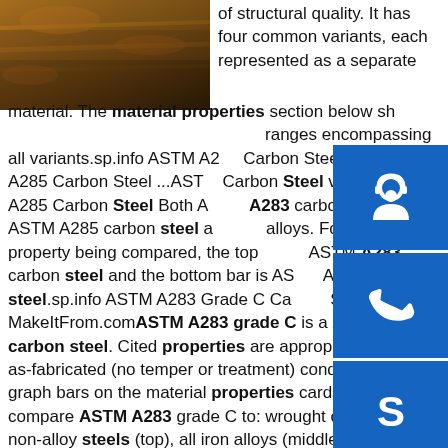[Figure (photo): Stack of steel plates with rust/weathering, dark brown and orange tones]
of structural quality. It has four common variants, each represented as a separate material. The material properties section below shows ranges encompassing all variants.sp.info ASTM A283 Carbon Steel vs. ASTM A285 Carbon Steel ...ASTM Carbon Steel vs. ASTM A285 Carbon Steel Both A283 carbon steel and ASTM A285 carbon steel are alloys. For each property being compared, the top bar is ASTM A283 carbon steel and the bottom bar is ASTM A285 carbon steel.sp.info ASTM A283 Grade C Carbon Steel :: MakeItFrom.comASTM A283 grade C is a ASTM A283 carbon steel. Cited properties are appropriate for the as-fabricated (no temper or treatment) condition. The graph bars on the material properties cards below compare ASTM A283 grade C to: wrought carbon or non-alloy steels (top), all iron alloys (middle), and the entire database (bottom).sp.info ASTM A283 Steel, grade B - MatWeb.comTypical of ASTM Steel : Mechanical